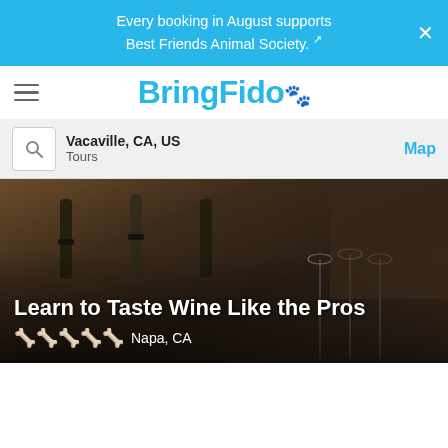Every booking in August supports Best Friends Animal Society.
[Figure (logo): BringFido logo with paw print icon]
Vacaville, CA, US
Tours
Map
[Figure (photo): Wine tasting scene with wine bottles and glasses in a rustic setting]
Learn to Taste Wine Like the Pros
Napa, CA
Browse by Category ∨
Browse by State